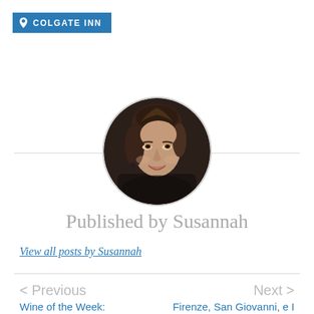COLGATE INN
[Figure (photo): Circular portrait photo of a woman named Susannah, smiling, with dark hair pulled back, wearing a dark top and earrings, against a dark background.]
Published by Susannah
View all posts by Susannah
< Previous
Wine of the Week:
Next >
Firenze, San Giovanni, e I